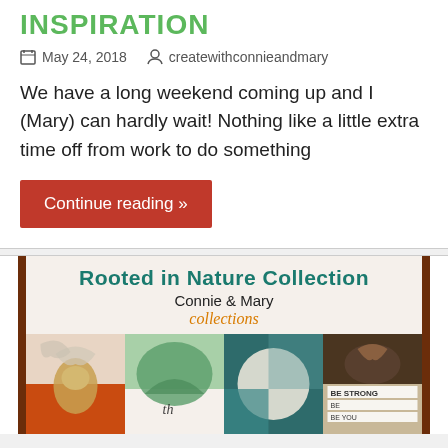INSPIRATION
May 24, 2018   createwithconnieandmary
We have a long weekend coming up and I (Mary) can hardly wait!  Nothing like a little extra time off from work to do something
Continue reading »
[Figure (illustration): Rooted in Nature Collection banner with Connie & Mary collections logo and four craft card photos below]
Rooted in Nature Collection — Connie & Mary collections